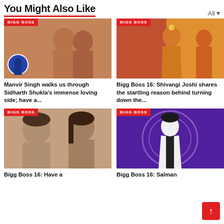You Might Also Like
[Figure (photo): Photo of two men (Manvir Singh and Sidharth Shukla) with BIGG BOSS badge]
Manvir Singh walks us through Sidharth Shukla's immense loving side; have a...
[Figure (photo): Photo of woman in yellow saree (Shivangi Joshi) with BIGG BOSS badge]
Bigg Boss 16: Shivangi Joshi shares the startling reason behind turning down the...
[Figure (photo): Photo of two women with BIGG BOSS badge]
Bigg Boss 16: Have a
[Figure (photo): Photo of Salman Khan in white suit on Bigg Boss stage with BIGG BOSS badge]
Bigg Boss 16: Salman